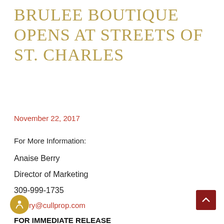BRULEE BOUTIQUE OPENS AT STREETS OF ST. CHARLES
November 22, 2017
For More Information:
Anaise Berry
Director of Marketing
309-999-1735
aberry@cullprop.com
FOR IMMEDIATE RELEASE